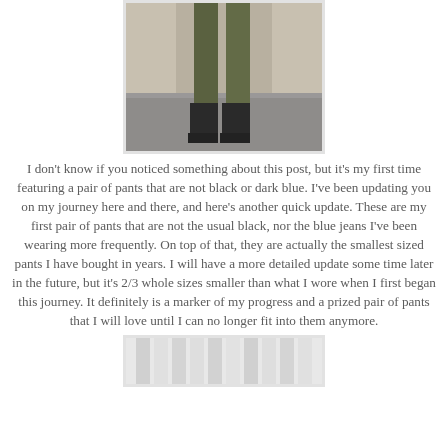[Figure (photo): Lower half of a person wearing olive/army green pants and black ankle boots, standing on a sidewalk near a building]
I don't know if you noticed something about this post, but it's my first time featuring a pair of pants that are not black or dark blue. I've been updating you on my journey here and there, and here's another quick update. These are my first pair of pants that are not the usual black, nor the blue jeans I've been wearing more frequently. On top of that, they are actually the smallest sized pants I have bought in years. I will have a more detailed update some time later in the future, but it's 2/3 whole sizes smaller than what I wore when I first began this journey. It definitely is a marker of my progress and a prized pair of pants that I will love until I can no longer fit into them anymore.
[Figure (photo): Partial bottom photo, appears to show a light colored background with vertical stripes or panels]